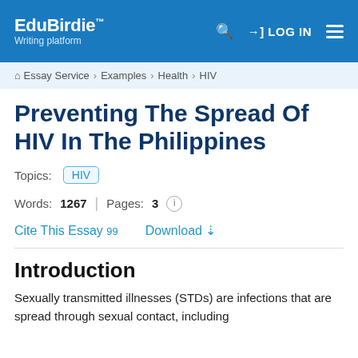EduBirdie™ Writing platform | LOG IN
Essay Service > Examples > Health > HIV
Preventing The Spread Of HIV In The Philippines
Topics: HIV
Words: 1267 | Pages: 3
Cite This Essay 99   Download
Introduction
Sexually transmitted illnesses (STDs) are infections that…